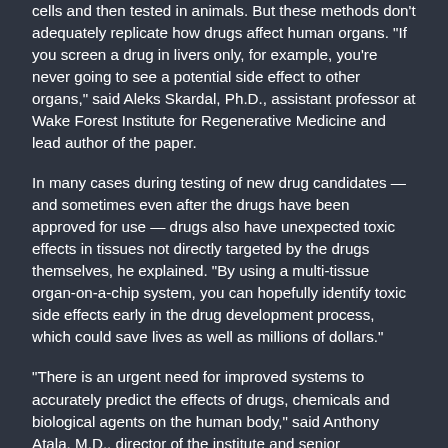cells and then tested in animals. But these methods don't adequately replicate how drugs affect human organs. "If you screen a drug in livers only, for example, you're never going to see a potential side effect to other organs," said Aleks Skardal, Ph.D., assistant professor at Wake Forest Institute for Regenerative Medicine and lead author of the paper.
In many cases during testing of new drug candidates — and sometimes even after the drugs have been approved for use — drugs also have unexpected toxic effects in tissues not directly targeted by the drugs themselves, he explained. "By using a multi-tissue organ-on-a-chip system, you can hopefully identify toxic side effects early in the drug development process, which could save lives as well as millions of dollars."
"There is an urgent need for improved systems to accurately predict the effects of drugs, chemicals and biological agents on the human body," said Anthony Atala, M.D., director of the institute and senior researcher on the multi-institution study. "The data show a significant toxic response to the drug as well as mitigation by the treatment, accurately reflecting the responses seen in human patients."
The scientists conducted multiple scenarios to ensure that the body-on-a-chip system mimics a multi-organ response.